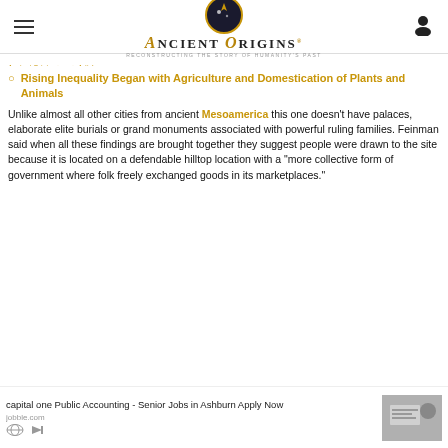Ancient Origins — Reconstructing the story of humanity's past
Rising Inequality Began with Agriculture and Domestication of Plants and Animals
Unlike almost all other cities from ancient Mesoamerica this one doesn't have palaces, elaborate elite burials or grand monuments associated with powerful ruling families. Feinman said when all these findings are brought together they suggest people were drawn to the site because it is located on a defendable hilltop location with a "more collective form of government where folk freely exchanged goods in its marketplaces."
[Figure (screenshot): Advertisement: capital one Public Accounting - Senior Jobs in Ashburn Apply Now, jobble.com, with image of person at desk with documents]